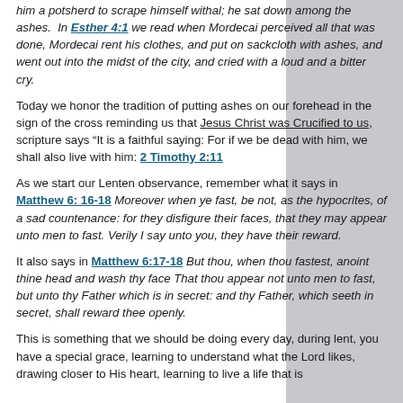him a potsherd to scrape himself withal; he sat down among the ashes. In Esther 4:1 we read when Mordecai perceived all that was done, Mordecai rent his clothes, and put on sackcloth with ashes, and went out into the midst of the city, and cried with a loud and a bitter cry.
Today we honor the tradition of putting ashes on our forehead in the sign of the cross reminding us that Jesus Christ was Crucified to us, scripture says “It is a faithful saying: For if we be dead with him, we shall also live with him: 2 Timothy 2:11
As we start our Lenten observance, remember what it says in Matthew 6: 16-18 Moreover when ye fast, be not, as the hypocrites, of a sad countenance: for they disfigure their faces, that they may appear unto men to fast. Verily I say unto you, they have their reward.
It also says in Matthew 6:17-18 But thou, when thou fastest, anoint thine head and wash thy face That thou appear not unto men to fast, but unto thy Father which is in secret: and thy Father, which seeth in secret, shall reward thee openly.
This is something that we should be doing every day, during lent, you have a special grace, learning to understand what the Lord likes, drawing closer to His heart, learning to live a life that is